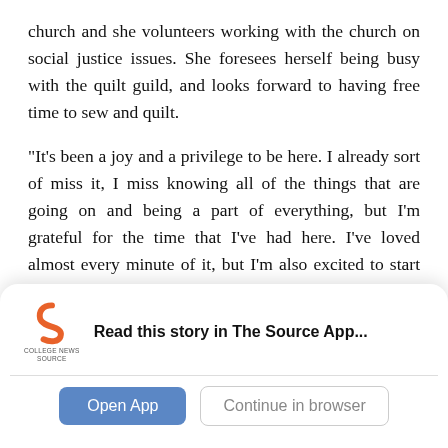church and she volunteers working with the church on social justice issues. She foresees herself being busy with the quilt guild, and looks forward to having free time to sew and quilt.
“It’s been a joy and a privilege to be here. I already sort of miss it, I miss knowing all of the things that are going on and being a part of everything, but I’m grateful for the time that I’ve had here. I’ve loved almost every minute of it, but I’m also excited to start something new,” Menzie said.
[Figure (other): College News Source app banner with logo, headline 'Read this story in The Source App...', and two buttons: 'Open App' and 'Continue in browser']